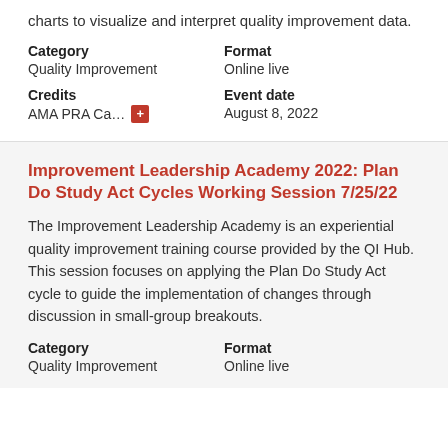charts to visualize and interpret quality improvement data.
Category
Quality Improvement
Format
Online live
Credits
AMA PRA Ca...
Event date
August 8, 2022
Improvement Leadership Academy 2022: Plan Do Study Act Cycles Working Session 7/25/22
The Improvement Leadership Academy is an experiential quality improvement training course provided by the QI Hub. This session focuses on applying the Plan Do Study Act cycle to guide the implementation of changes through discussion in small-group breakouts.
Category
Quality Improvement
Format
Online live